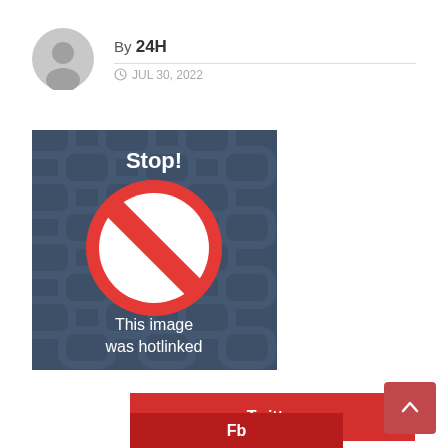By 24H
JUL 30, 2022
[Figure (illustration): Hotlinked image placeholder with dark blue background, a red prohibition/stop sign circle with a diagonal line, bold white text 'Stop!' at top and 'This image was hotlinked' at bottom]
Twitter
Fb